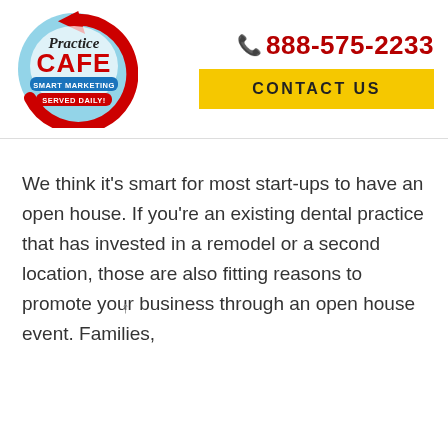[Figure (logo): Practice Cafe logo — circular blue background with red arrow, text 'Practice CAFE' and taglines 'SMART MARKETING SERVED DAILY!']
888-575-2233
CONTACT US
We think it's smart for most start-ups to have an open house. If you're an existing dental practice that has invested in a remodel or a second location, those are also fitting reasons to promote your business through an open house event. Families,